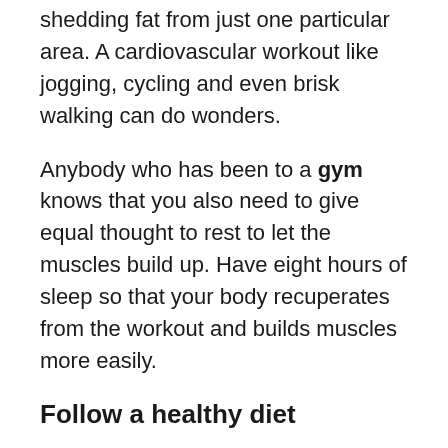shedding fat from just one particular area. A cardiovascular workout like jogging, cycling and even brisk walking can do wonders.
Anybody who has been to a gym knows that you also need to give equal thought to rest to let the muscles build up. Have eight hours of sleep so that your body recuperates from the workout and builds muscles more easily.
Follow a healthy diet
No amount of fat loss is possible by relying only on exercise. You have to keep a check on what you eat because if you continue to gorge on unhealthy food, the new fat will start replacing the one you